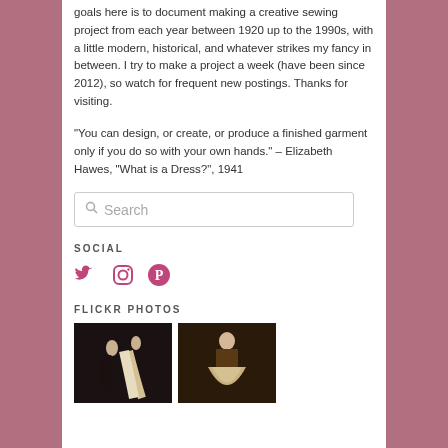goals here is to document making a creative sewing project from each year between 1920 up to the 1990s, with a little modern, historical, and whatever strikes my fancy in between. I try to make a project a week (have been since 2012), so watch for frequent new postings. Thanks for visiting.
“You can design, or create, or produce a finished garment only if you do so with your own hands.” – Elizabeth Hawes, “What is a Dress?”, 1941
[Figure (screenshot): Search input box with magnifying glass icon and placeholder text 'Search']
SOCIAL
[Figure (infographic): Social media icons: Twitter bird, Instagram camera, Pinterest P - all in pink/magenta color]
FLICKR PHOTOS
[Figure (photo): Two Flickr photos side by side showing vintage dresses on mannequins/models - dark velvet and cream ball gown styles]